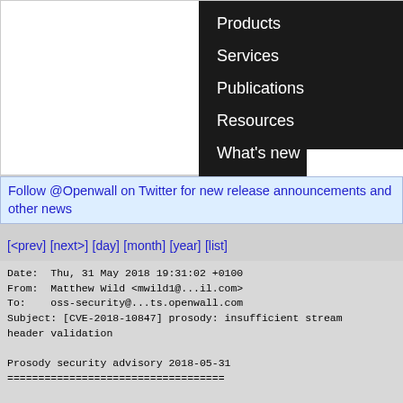[Figure (screenshot): Website navigation menu with dark background showing Products, Services, Publications, Resources, What's new links in white text on black background]
Follow @Openwall on Twitter for new release announcements and other news
[<prev] [next>] [day] [month] [year] [list]
Date: Thu, 31 May 2018 19:31:02 +0100
From: Matthew Wild <mwild1@...il.com>
To: oss-security@...ts.openwall.com
Subject: [CVE-2018-10847] prosody: insufficient stream header validation

Prosody security advisory 2018-05-31
===================================

CVE-2018-10847
------------

Project